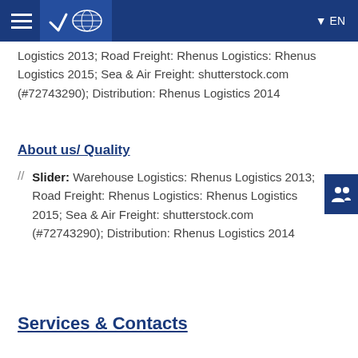EN (navigation bar with hamburger menu, world map logo, and language selector)
Logistics 2013; Road Freight: Rhenus Logistics: Rhenus Logistics 2015; Sea & Air Freight: shutterstock.com (#72743290); Distribution: Rhenus Logistics 2014
About us/ Quality
// Slider: Warehouse Logistics: Rhenus Logistics 2013; Road Freight: Rhenus Logistics: Rhenus Logistics 2015; Sea & Air Freight: shutterstock.com (#72743290); Distribution: Rhenus Logistics 2014
Services & Contacts